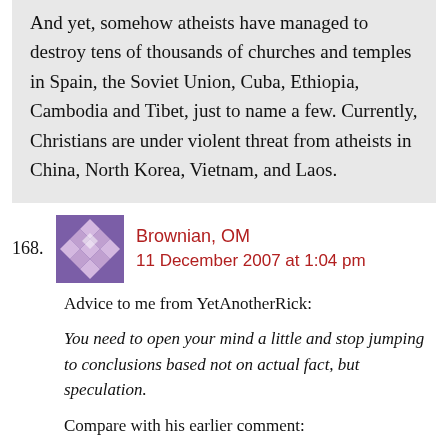And yet, somehow atheists have managed to destroy tens of thousands of churches and temples in Spain, the Soviet Union, Cuba, Ethiopia, Cambodia and Tibet, just to name a few. Currently, Christians are under violent threat from atheists in China, North Korea, Vietnam, and Laos.
168. Brownian, OM — 11 December 2007 at 1:04 pm
Advice to me from YetAnotherRick:
You need to open your mind a little and stop jumping to conclusions based not on actual fact, but speculation.
Compare with his earlier comment:
That's all I need to know about your level of intellectual development.